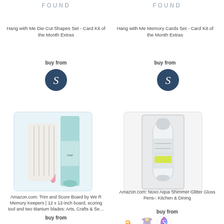FOUND
FOUND
Hang with Me Die Cut Shapes Set - Card Kit of the Month Extras
buy from
[Figure (logo): Dark blue circle with white S letter logo]
Hang with Me Memory Cards Set - Card Kit of the Month Extras
buy from
[Figure (logo): Dark blue circle with white S letter logo]
[Figure (photo): Amazon.com product photo: Trim and Score Board by We R Memory Keepers, teal colored scoring tool with blades]
[Figure (photo): Amazon.com product photo: Nuvo Aqua Shimmer Glitter Gloss Pens in clear packaging]
Amazon.com: Trim and Score Board by We R Memory Keepers | 12 x 12-inch board, scoring tool and two titanium blades: Arts, Crafts & Se…
buy from
Amazon.com: Nuvo Aqua Shimmer Glitter Gloss Pens-: Kitchen & Dining
buy from
[Figure (logo): Amazon 'a' logo, fairy/wing logo, and colorful spiral S logo]
[Figure (logo): Amazon 'a' logo, fairy/wing logo, and colorful spiral S logo]